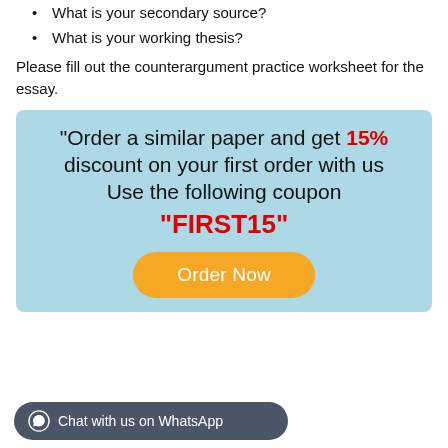What is your secondary source?
What is your working thesis?
Please fill out the counterargument practice worksheet for the essay.
[Figure (infographic): Light blue advertisement box with text: "Order a similar paper and get 15% discount on your first order with us Use the following coupon \"FIRST15\"" and an orange 'Order Now' button]
Chat with us on WhatsApp